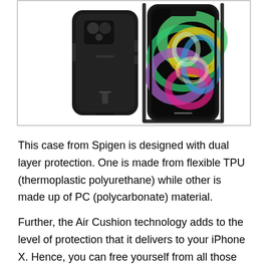[Figure (photo): Product photo showing a black Spigen phone case from two angles — back view showing the case alone (black matte finish with kickstand), and front view showing the case on an iPhone XS with a colorful abstract swirl wallpaper visible on the screen.]
This case from Spigen is designed with dual layer protection. One is made from flexible TPU (thermoplastic polyurethane) while other is made up of PC (polycarbonate) material.
Further, the Air Cushion technology adds to the level of protection that it delivers to your iPhone X. Hence, you can free yourself from all those worries about your phone getting damaged due to…